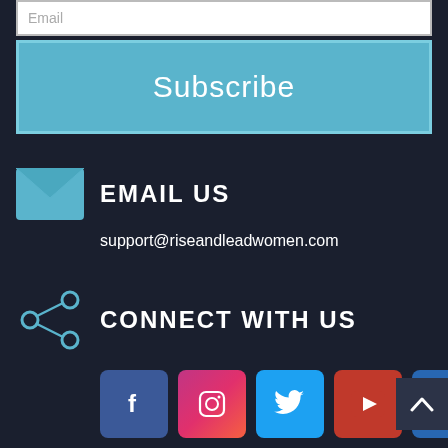Email
Subscribe
EMAIL US
support@riseandleadwomen.com
CONNECT WITH US
[Figure (infographic): Social media icons: Facebook, Instagram, Twitter, YouTube, LinkedIn]